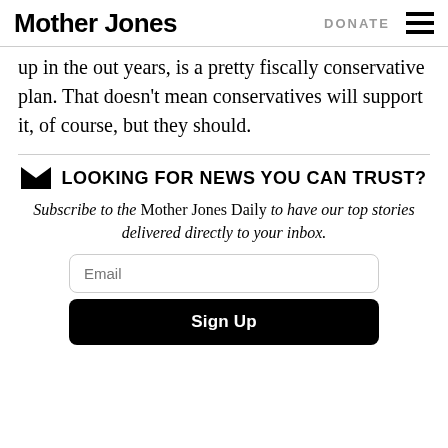Mother Jones | DONATE
up in the out years, is a pretty fiscally conservative plan. That doesn’t mean conservatives will support it, of course, but they should.
LOOKING FOR NEWS YOU CAN TRUST?
Subscribe to the Mother Jones Daily to have our top stories delivered directly to your inbox.
Email
Sign Up